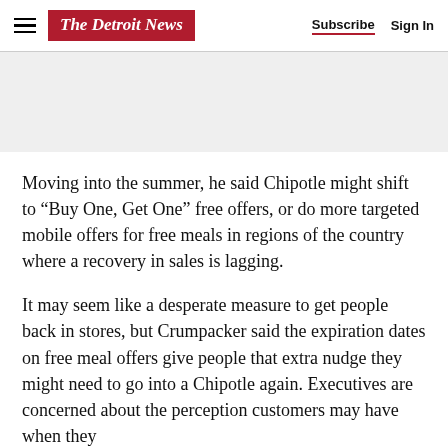The Detroit News | Subscribe  Sign In
[Figure (other): Advertisement banner area (gray placeholder)]
Moving into the summer, he said Chipotle might shift to “Buy One, Get One” free offers, or do more targeted mobile offers for free meals in regions of the country where a recovery in sales is lagging.
It may seem like a desperate measure to get people back in stores, but Crumpacker said the expiration dates on free meal offers give people that extra nudge they might need to go into a Chipotle again. Executives are concerned about the perception customers may have when they